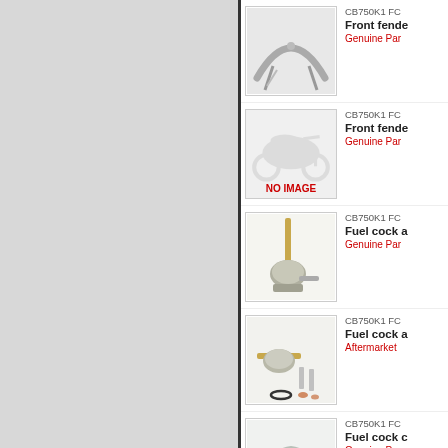[Figure (photo): Left grey sidebar panel]
[Figure (photo): CB750K1 front fender - chrome metal fender with mounting stays]
CB750K1 FC
Front fende
Genuine Par
[Figure (photo): No image placeholder with motorcycle silhouette]
CB750K1 FC
Front fende
Genuine Par
[Figure (photo): CB750K1 fuel cock assembly - metal petcock with rod]
CB750K1 FC
Fuel cock a
Genuine Par
[Figure (photo): CB750K1 fuel cock assembly with hardware - petcock with screws and o-ring]
CB750K1 FC
Fuel cock a
Aftermarket
[Figure (photo): CB750K1 fuel cock cap - dome shaped metal cap]
CB750K1 FC
Fuel cock c
Genuine Par